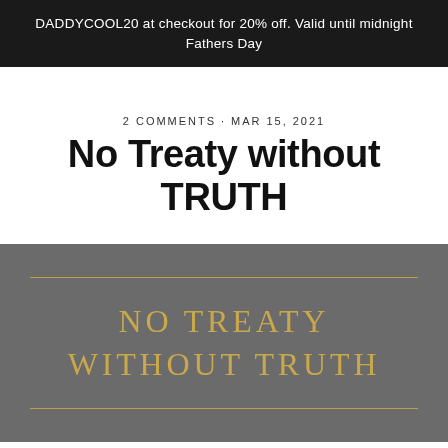DADDYCOOL20 at checkout for 20% off. Valid until midnight Fathers Day
2 COMMENTS · MAR 15, 2021
No Treaty without TRUTH
[Figure (illustration): Dark grey rectangular banner with gold horizontal lines at top and bottom and gold text reading 'NO TREATY WITHOUT TRUTH' in large serif capitals centered on the banner.]